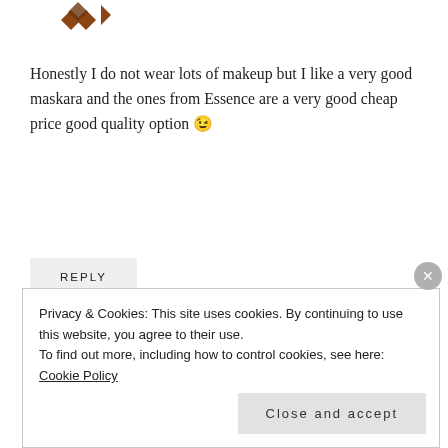[Figure (illustration): Partial decorative avatar icon visible at top-left, cropped]
Honestly I do not wear lots of makeup but I like a very good maskara and the ones from Essence are a very good cheap price good quality option 😉
REPLY
[Figure (illustration): Teal/green decorative geometric avatar icon for commenter Michelle Reitsma]
MICHELLE REITSMA
July 2, 2019 at 11:55 am
Privacy & Cookies: This site uses cookies. By continuing to use this website, you agree to their use.
To find out more, including how to control cookies, see here: Cookie Policy
Close and accept